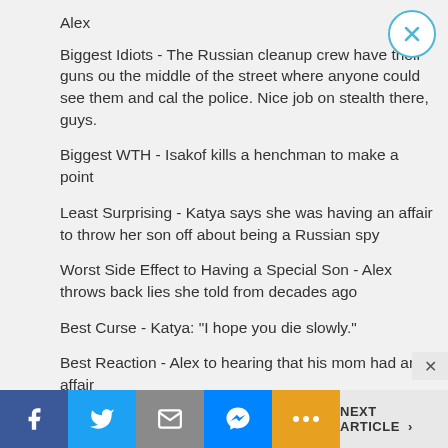Alex
Biggest Idiots - The Russian cleanup crew have their guns out in the middle of the street where anyone could see them and call the police. Nice job on stealth there, guys.
Biggest WTH - Isakof kills a henchman to make a point
Least Surprising - Katya says she was having an affair to throw her son off about being a Russian spy
Worst Side Effect to Having a Special Son - Alex throws back lies she told from decades ago
Best Curse - Katya: "I hope you die slowly."
Best Reaction - Alex to hearing that his mom had an affair
The "Well This Should be Fun" Award - already conflicts between the FBI and CIA and they're 5 minutes into working together
The "Mama to the Rescue" Award - Katya takes out the sniper about to take out Alex
NEXT ARTICLE >